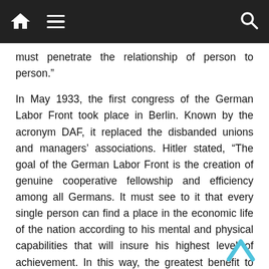Navigation bar with home, menu, and search icons
must penetrate the relationship of person to person.”
In May 1933, the first congress of the German Labor Front took place in Berlin. Known by the acronym DAF, it replaced the disbanded unions and managers’ associations. Hitler stated, “The goal of the German Labor Front is the creation of genuine cooperative fellowship and efficiency among all Germans. It must see to it that every single person can find a place in the economic life of the nation according to his mental and physical capabilities that will insure his highest level of achievement. In this way, the greatest benefit to the overall community will be realized.”
The DAF therefore contributed to Hitler’s goal of welding the Germans into a Volksgemeinschaft